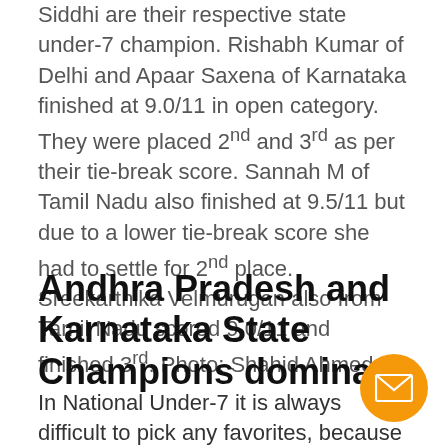Siddhi are their respective state under-7 champion. Rishabh Kumar of Delhi and Apaar Saxena of Karnataka finished at 9.0/11 in open category. They were placed 2nd and 3rd as per their tie-break score. Sannah M of Tamil Nadu also finished at 9.5/11 but due to a lower tie-break score she had to settle for 2nd place. Sreekarthika Velmurugan also from Tamil Nadu scored 9.0/11 and finished 3rd. Photo: Shahid Ahmed
Andhra Pradesh and Karnataka State Champions dominate
In National Under-7 it is always difficult to pick any favorites, because anyone has the capability of beating anyone than in any other age category National Championships a safe bet. State Champions are in general considered